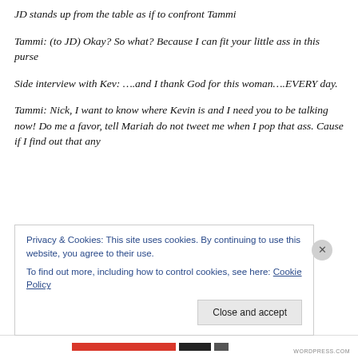JD stands up from the table as if to confront Tammi
Tammi: (to JD) Okay? So what? Because I can fit your little ass in this purse
Side interview with Kev: ….and I thank God for this woman….EVERY day.
Tammi: Nick, I want to know where Kevin is and I need you to be talking now! Do me a favor, tell Mariah do not tweet me when I pop that ass. Cause if I find out that any
Privacy & Cookies: This site uses cookies. By continuing to use this website, you agree to their use.
To find out more, including how to control cookies, see here: Cookie Policy
Close and accept